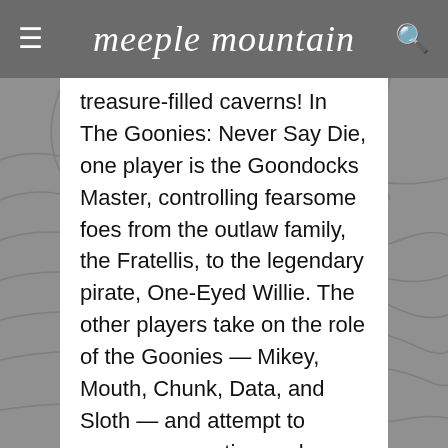meeple mountain
treasure-filled caverns! In The Goonies: Never Say Die, one player is the Goondocks Master, controlling fearsome foes from the outlaw family, the Fratellis, to the legendary pirate, One-Eyed Willie. The other players take on the role of the Goonies — Mikey, Mouth, Chunk, Data, and Sloth — and attempt to overcome cryptic puzzles and deadly challenges with teamwork, strategy, and Data's clever contraptions! Will the Goonies discover the legendary riches that will save their homes, or will they follow the fate of Chester Copperpot... and never